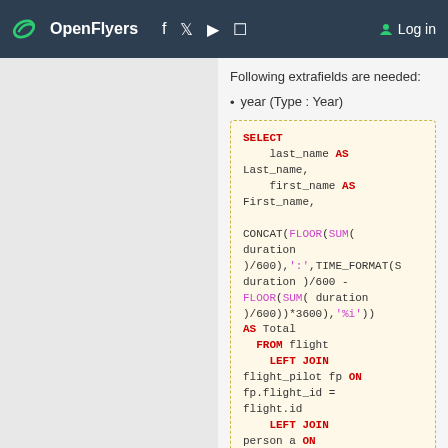OpenFlyers  Log in
Following extrafields are needed:
year (Type : Year)
SELECT
    last_name AS Last_name,
    first_name AS First_name,

CONCAT(FLOOR(SUM( duration )/600),':',TIME_FORMAT(S duration )/600 - FLOOR(SUM( duration )/600))*3600),'%i'))
AS Total
  FROM flight
    LEFT JOIN flight_pilot fp ON fp.flight_id = flight.id
    LEFT JOIN person a ON